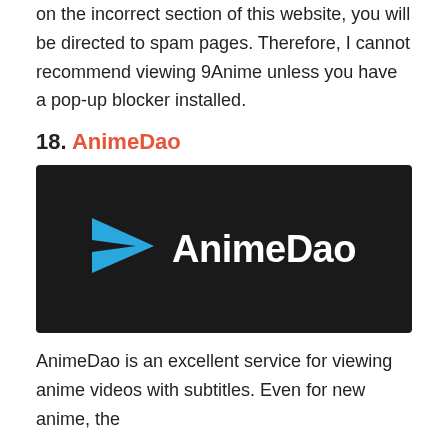on the incorrect section of this website, you will be directed to spam pages. Therefore, I cannot recommend viewing 9Anime unless you have a pop-up blocker installed.
18. AnimeDao
[Figure (logo): AnimeDao logo: dark background with a blue paper plane icon on the left and the text 'AnimeDao' in bold white on the right.]
AnimeDao is an excellent service for viewing anime videos with subtitles. Even for new anime, the